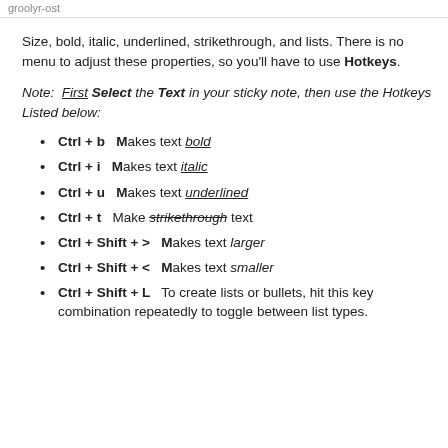groolyr-ost
Size, bold, italic, underlined, strikethrough, and lists. There is no menu to adjust these properties, so you'll have to use Hotkeys.
Note:  First Select the Text in your sticky note, then use the Hotkeys Listed below:
Ctrl + b   Makes text bold
Ctrl + i   Makes text italic
Ctrl + u   Makes text underlined
Ctrl + t   Make strikethrough text
Ctrl + Shift +  >  Makes text larger
Ctrl + Shift +  <  Makes text smaller
Ctrl + Shift + L  To create lists or bullets, hit this key combination repeatedly to toggle between list types.